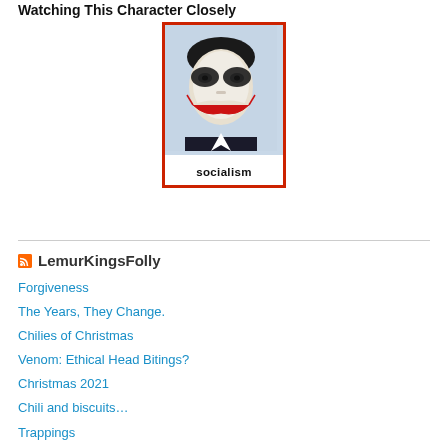Watching This Character Closely
[Figure (illustration): Political poster showing a face with Joker-style makeup (dark eye makeup, red smile) on a light blue background with a red border. Below the face is white space with the word 'socialism' in bold black text.]
LemurKingsFolly
Forgiveness
The Years, They Change.
Chilies of Christmas
Venom: Ethical Head Bitings?
Christmas 2021
Chili and biscuits…
Trappings